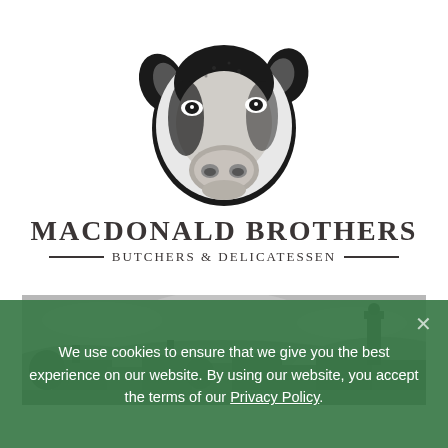[Figure (logo): Black and white engraving-style illustration of a cow's head facing slightly right, used as the MacDonald Brothers butcher logo]
MacDonald Brothers Butchers & Delicatessen
[Figure (photo): Black and white photograph of a townscape or village, showing rooftops, chimneys, and hills in the background under an overcast sky]
We use cookies to ensure that we give you the best experience on our website. By using our website, you accept the terms of our Privacy Policy.